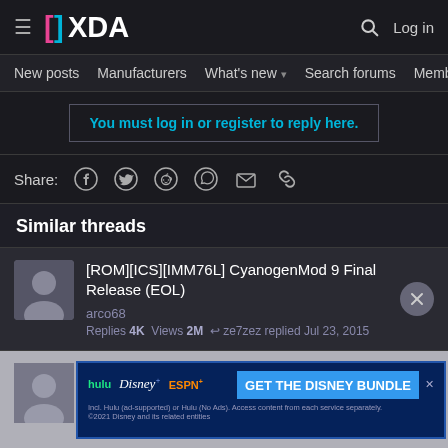XDA Forums — hamburger menu | XDA logo | Search | Log in
New posts  Manufacturers  What's new ▾  Search forums  Membe  >
You must log in or register to reply here.
Share:
Similar threads
[ROM][ICS][IMM76L] CyanogenMod 9 Final Release (EOL)  arco68  Replies 4K  Views 2M  ↩ ze7zez replied Jul 23, 2015
[Figure (screenshot): Advertisement banner for Disney Bundle (Hulu, Disney+, ESPN+) with blue background and GET THE DISNEY BUNDLE call-to-action button]
Replies 4K  Views 175K  ↩ replied Jul 19, 201X